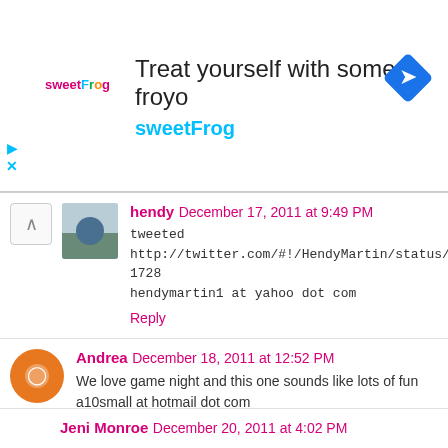[Figure (other): Advertisement banner for sweetFrog frozen yogurt. Shows sweetFrog logo, text 'Treat yourself with some froyo' and 'sweetFrog', and a blue navigation/map icon.]
hendy  December 17, 2011 at 9:49 PM
tweeted http://twitter.com/#!/HendyMartin/status/148278070015561728
hendymartin1 at yahoo dot com
Reply
Andrea  December 18, 2011 at 12:52 PM
We love game night and this one sounds like lots of fun a10small at hotmail dot com
Reply
Jeni Monroe  December 20, 2011 at 4:02 PM